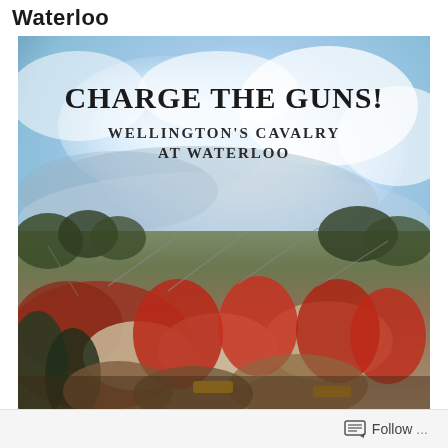Waterloo
[Figure (illustration): Book cover for 'Charge the Guns! Wellington's Cavalry at Waterloo'. The cover features a dramatic painted battle scene of British cavalry soldiers in red uniforms charging during the Battle of Waterloo. The upper portion shows a blue cloudy sky with white clouds, while the lower portion depicts a chaotic cavalry charge with soldiers on horseback wielding sabers. The title 'CHARGE THE GUNS!' appears in large bold serif text, with subtitle 'WELLINGTON'S CAVALRY AT WATERLOO' below it.]
Follow